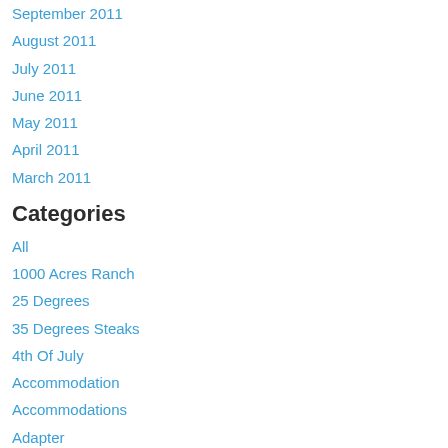September 2011
August 2011
July 2011
June 2011
May 2011
April 2011
March 2011
Categories
All
1000 Acres Ranch
25 Degrees
35 Degrees Steaks
4th Of July
Accommodation
Accommodations
Adapter
A Dog's Purpose
Adventure
Adventuress Heart
Alabama